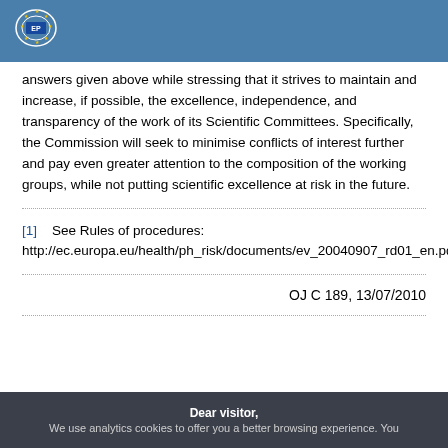[Figure (logo): European Parliament logo on blue header bar]
answers given above while stressing that it strives to maintain and increase, if possible, the excellence, independence, and transparency of the work of its Scientific Committees. Specifically, the Commission will seek to minimise conflicts of interest further and pay even greater attention to the composition of the working groups, while not putting scientific excellence at risk in the future.
[1]   See Rules of procedures: http://ec.europa.eu/health/ph_risk/documents/ev_20040907_rd01_en.pdf
OJ C 189, 13/07/2010
Dear visitor, We use analytics cookies to offer you a better browsing experience. You